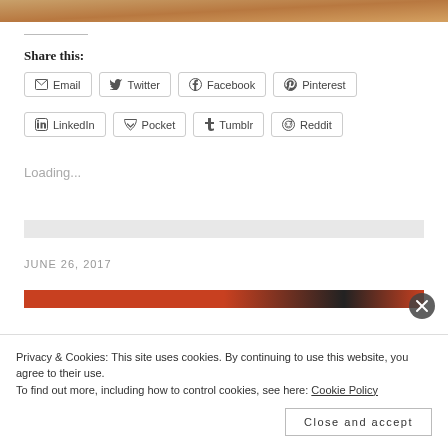[Figure (photo): Top portion of an image, appears to be an animal with orange/brown fur, cropped to a narrow strip.]
Share this:
Email  Twitter  Facebook  Pinterest  LinkedIn  Pocket  Tumblr  Reddit
Loading...
JUNE 26, 2017
Privacy & Cookies: This site uses cookies. By continuing to use this website, you agree to their use. To find out more, including how to control cookies, see here: Cookie Policy
Close and accept